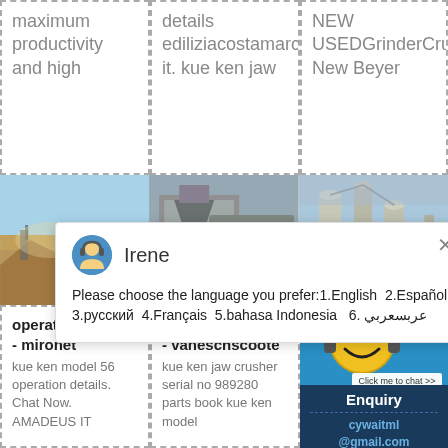maximum productivity and high
details ediliziacostamarco it. kue ken jaw
NEW USEDGrinderCru New Beyer
[Figure (photo): Quarry/mining site with machinery and rocky terrain, outdoor daytime]
[Figure (photo): Industrial crusher or mining equipment, large machinery close-up]
[Figure (photo): Industrial silos or towers, outdoor industrial site]
[Figure (screenshot): Chat popup with avatar of Irene showing language selection options: 1.English 2.Español 3.русский 4.Français 5.bahasa Indonesia 6. عربسعربي]
operation details - mironet
kue ken model 56 operation details. Chat Now. AMADEUS IT
operation details - vaneschscoote
kue ken jaw crusher serial no 989280 parts book kue ken model
[Figure (infographic): Smiley face chat widget on blue background with notification badge showing 1 and Click me to chat button]
Enquiry
cywaitml @gmail.com